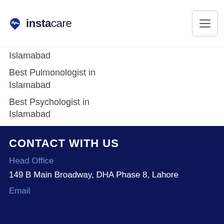[Figure (logo): Instacare logo with heartbeat icon and text 'instacare']
Islamabad
Best Pulmonologist in Islamabad
Best Psychologist in Islamabad
Best Nephrologist in Islamabad
Book Lab Tests in Islamabad
CONTACT WITH US
Head Office
149 B Main Broadway, DHA Phase 8, Lahore
Email